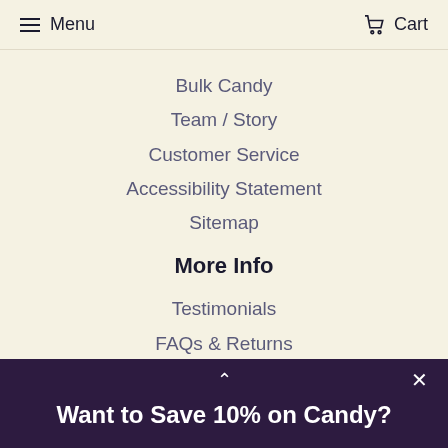Menu   Cart
Bulk Candy
Team / Story
Customer Service
Accessibility Statement
Sitemap
More Info
Testimonials
FAQs & Returns
Privacy policy
Affiliates
© 2022 CandyStore.com   Powered by Shopify
Want to Save 10% on Candy?